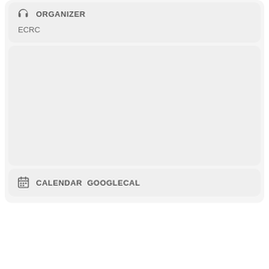ORGANIZER
ECRC
[Figure (other): Empty gray card / placeholder area]
CALENDAR  GOOGLECAL